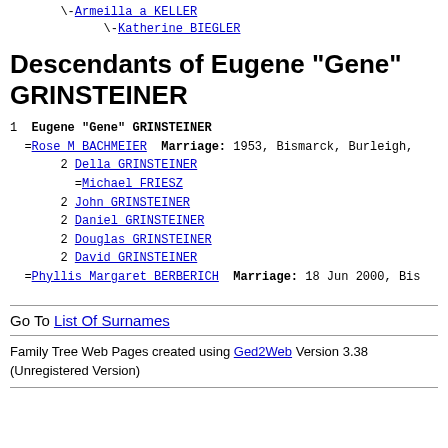\-Armeilla a KELLER
        \-Katherine BIEGLER
Descendants of Eugene "Gene" GRINSTEINER
1 Eugene "Gene" GRINSTEINER
  =Rose M BACHMEIER  Marriage: 1953, Bismarck, Burleigh,
      2 Della GRINSTEINER
        =Michael FRIESZ
      2 John GRINSTEINER
      2 Daniel GRINSTEINER
      2 Douglas GRINSTEINER
      2 David GRINSTEINER
  =Phyllis Margaret BERBERICH  Marriage: 18 Jun 2000, Bis
Go To List Of Surnames
Family Tree Web Pages created using Ged2Web Version 3.38 (Unregistered Version)